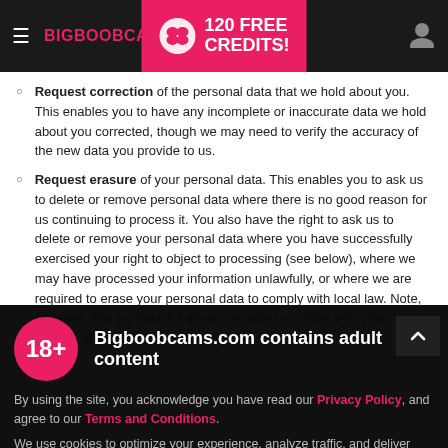BIGBOOBCAMS.COM | 120 FREE CREDITS!
Request correction of the personal data that we hold about you. This enables you to have any incomplete or inaccurate data we hold about you corrected, though we may need to verify the accuracy of the new data you provide to us.
Request erasure of your personal data. This enables you to ask us to delete or remove personal data where there is no good reason for us continuing to process it. You also have the right to ask us to delete or remove your personal data where you have successfully exercised your right to object to processing (see below), where we may have processed your information unlawfully, or where we are required to erase your personal data to comply with local law. Note, however, that we may not always be able to comply with your request of erasure for specific legal
Bigboobcams.com contains adult content
By using the site, you acknowledge you have read our Privacy Policy, and agree to our Terms and Conditions.
We use cookies to optimize your experience, analyze traffic, and deliver more personalized service. To learn more, please see our Privacy Policy.
I AGREE